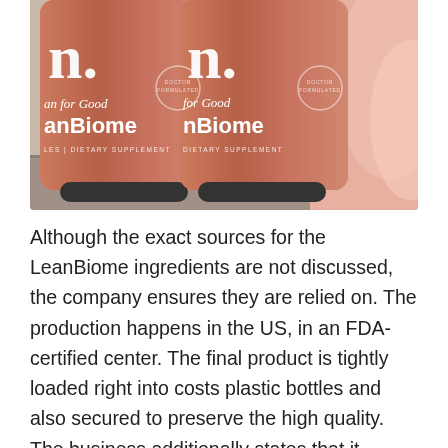[Figure (photo): Two orange/terracotta colored LeanBiome dietary supplement bottles with white text showing 'n.', 'for Good', 'nBiome', and 'DIETARY SUPPLEMENT' labels, displayed on a grey surface with a pink fabric backdrop in the background.]
Although the exact sources for the LeanBiome ingredients are not discussed, the company ensures they are relied on. The production happens in the US, in an FDA-certified center. The final product is tightly loaded right into costs plastic bottles and also secured to preserve the high quality. The business additionally states that it inspects every batch with a third-party testing